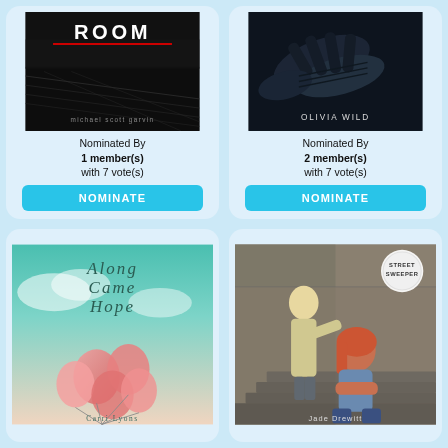[Figure (illustration): Book cover for a thriller/horror novel by Michael Scott Garvin – dark moody field scene with red title text, black and white tones]
Nominated By
1 member(s)
with 7 vote(s)
NOMINATE
[Figure (illustration): Book cover by Olivia Wild – dark/noir close-up image of gloved hands with author name Olivia Wild in white text]
Nominated By
2 member(s)
with 7 vote(s)
NOMINATE
[Figure (illustration): Book cover 'Along Came Hope' by Carri Lyons – teal/vintage sky background with pink balloons and decorative serif title text]
[Figure (illustration): Book cover 'Street Sweeper' by Jade Drewitt – photo of two young women on urban steps, one blonde standing, one red-haired sitting, with circular badge logo top right]